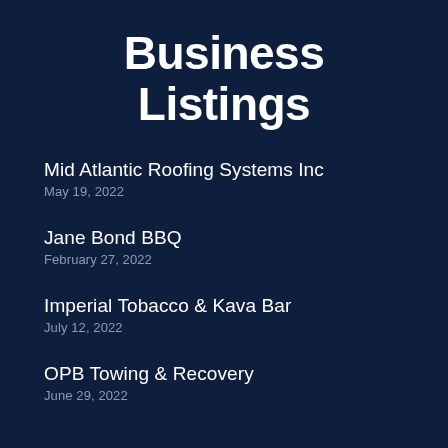Business Listings
Mid Atlantic Roofing Systems Inc
May 19, 2022
Jane Bond BBQ
February 27, 2022
Imperial Tobacco & Kava Bar
July 12, 2022
OPB Towing & Recovery
June 29, 2022